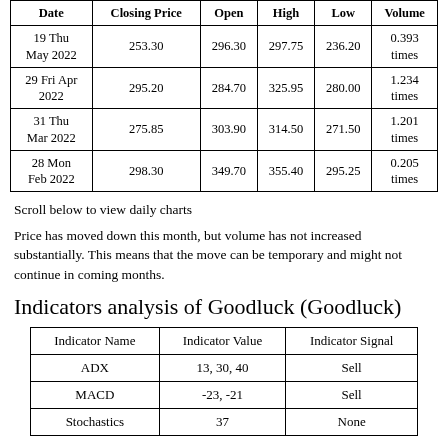| Date | Closing Price | Open | High | Low | Volume |
| --- | --- | --- | --- | --- | --- |
| 19 Thu May 2022 | 253.30 | 296.30 | 297.75 | 236.20 | 0.393 times |
| 29 Fri Apr 2022 | 295.20 | 284.70 | 325.95 | 280.00 | 1.234 times |
| 31 Thu Mar 2022 | 275.85 | 303.90 | 314.50 | 271.50 | 1.201 times |
| 28 Mon Feb 2022 | 298.30 | 349.70 | 355.40 | 295.25 | 0.205 times |
Scroll below to view daily charts
Price has moved down this month, but volume has not increased substantially. This means that the move can be temporary and might not continue in coming months.
Indicators analysis of Goodluck (Goodluck)
| Indicator Name | Indicator Value | Indicator Signal |
| --- | --- | --- |
| ADX | 13, 30, 40 | Sell |
| MACD | -23, -21 | Sell |
| Stochastics | 37 | None |